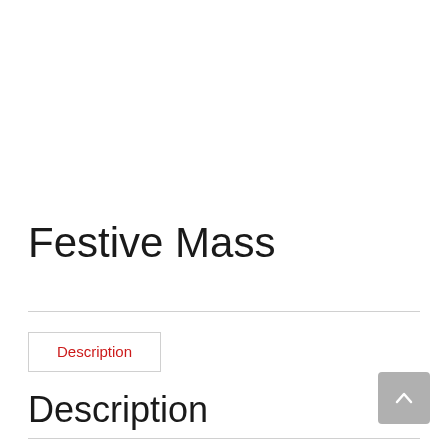Festive Mass
Description
Description